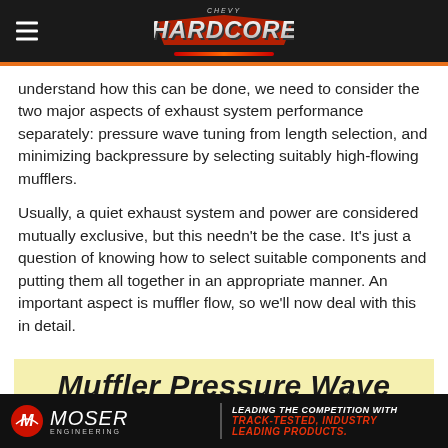HARDCORE (website header navigation bar with logo)
understand how this can be done, we need to consider the two major aspects of exhaust system performance separately: pressure wave tuning from length selection, and minimizing backpressure by selecting suitably high-flowing mufflers.
Usually, a quiet exhaust system and power are considered mutually exclusive, but this needn't be the case. It's just a question of knowing how to select suitable components and putting them all together in an appropriate manner. An important aspect is muffler flow, so we'll now deal with this in detail.
Muffler Pressure Wave Reflection Characteristics
MOSER ENGINEERING — LEADING THE COMPETITION WITH TRACK-TESTED, INDUSTRY LEADING PRODUCTS.